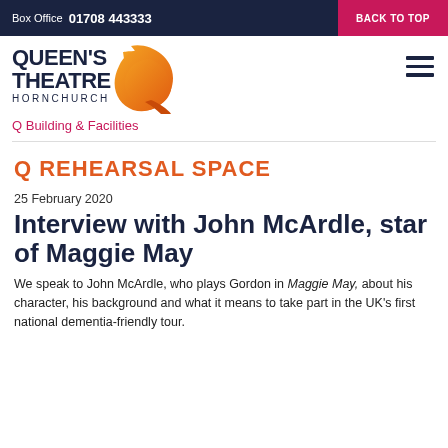Box Office  01708 443333    BACK TO TOP
[Figure (logo): Queen's Theatre Hornchurch logo with orange Q swoosh graphic and hamburger menu icon]
Q Building & Facilities
Q REHEARSAL SPACE
25 February 2020
Interview with John McArdle, star of Maggie May
We speak to John McArdle, who plays Gordon in Maggie May, about his character, his background and what it means to take part in the UK's first national dementia-friendly tour.